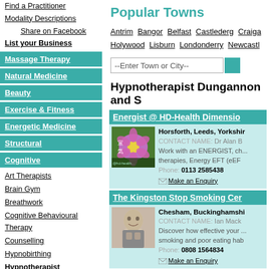Find a Practitioner
Modality Descriptions
Share on Facebook
List your Business
Massage Therapy
Natural Medicine
Beauty
Exercise & Fitness
Energetic Medicine
Structural
Cognitive
Art Therapists
Brain Gym
Breathwork
Cognitive Behavioural Therapy
Counselling
Hypnobirthing
Hypnotherapist
Life Coaching
Meditation
Mindfulness
Popular Towns
Antrim  Bangor  Belfast  Castlederg  Craiga...  Holywood  Lisburn  Londonderry  Newcastl...
Hypnotherapist Dungannon and S
Energist @ HD-Health Dimensio...
Horsforth, Leeds, Yorkshir... CONTACT NAME: Dr Alan B... Work with an ENERGIST, ch... therapies, Energy EFT (eEF... Phone: 0113 2585438 Make an Enquiry
The Kingston Stop Smoking Cer...
Chesham, Buckinghamshi... CONTACT NAME: Ian Mack... Discover how effective your ... smoking and poor eating hab... Phone: 0808 1564834 Make an Enquiry